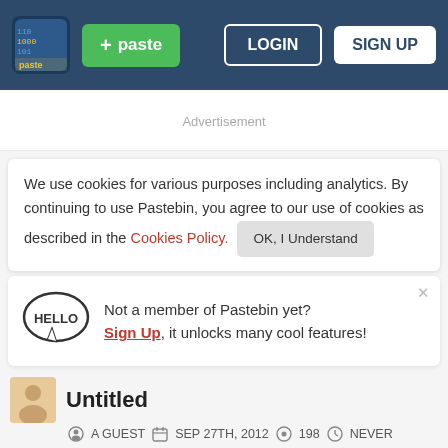[Figure (screenshot): Pastebin website header with logo, green +paste button, LOGIN and SIGN UP buttons on dark navy background]
Advertisement
We use cookies for various purposes including analytics. By continuing to use Pastebin, you agree to our use of cookies as described in the Cookies Policy. OK, I Understand
Not a member of Pastebin yet? Sign Up, it unlocks many cool features!
Untitled
A GUEST  SEP 27TH, 2012  198  NEVER
Not a member of Pastebin yet? Sign Up, it unlocks many cool features!